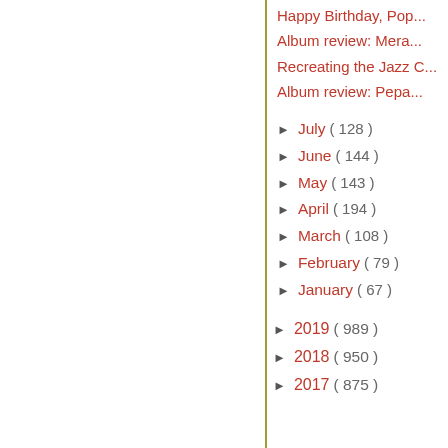Happy Birthday, Pop...
Album review: Mera...
Recreating the Jazz C...
Album review: Pepa...
► July ( 128 )
► June ( 144 )
► May ( 143 )
► April ( 194 )
► March ( 108 )
► February ( 79 )
► January ( 67 )
► 2019 ( 989 )
► 2018 ( 950 )
► 2017 ( 875 )